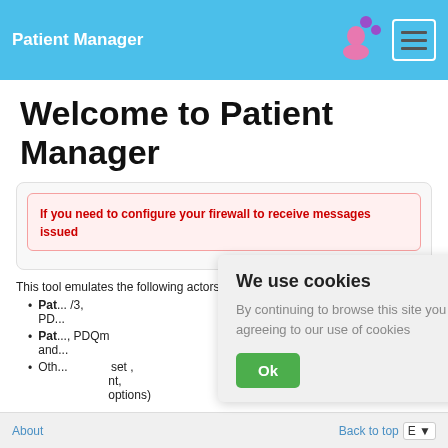Patient Manager
Welcome to Patient Manager
If you need to configure your firewall to receive messages issued
This tool emulates the following actors:
Pat... /3, PD...
Pat... , PDQm and...
Oth... set , nt, options)
We use cookies
By continuing to browse this site you are agreeing to our use of cookies
About    Back to top    E